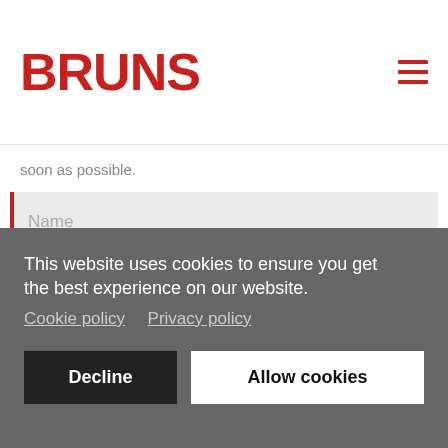BRUNS
soon as possible.
Name
Telephone number
This website uses cookies to ensure you get the best experience on our website.
Cookie policy   Privacy policy
Decline
Allow cookies